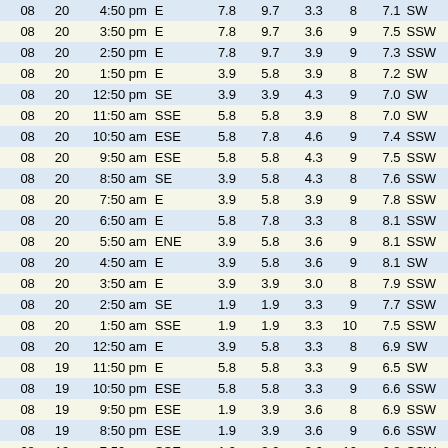| Mo | Da | Time | Dir |  | col5 | col6 | col7 | col8 | col9 | col10 |
| --- | --- | --- | --- | --- | --- | --- | --- | --- | --- | --- |
| 08 | 20 | 4:50 pm | E |  | 7.8 | 9.7 | 3.3 | 8 | 7.1 | SW |
| 08 | 20 | 3:50 pm | E |  | 7.8 | 9.7 | 3.6 | 9 | 7.5 | SSW |
| 08 | 20 | 2:50 pm | E |  | 7.8 | 9.7 | 3.9 | 9 | 7.3 | SSW |
| 08 | 20 | 1:50 pm | E |  | 3.9 | 5.8 | 3.9 | 8 | 7.2 | SW |
| 08 | 20 | 12:50 pm | SE |  | 3.9 | 3.9 | 4.3 | 9 | 7.0 | SW |
| 08 | 20 | 11:50 am | SSE |  | 5.8 | 5.8 | 3.9 | 8 | 7.0 | SW |
| 08 | 20 | 10:50 am | ESE |  | 5.8 | 7.8 | 4.6 | 9 | 7.4 | SSW |
| 08 | 20 | 9:50 am | ESE |  | 5.8 | 5.8 | 4.3 | 9 | 7.5 | SSW |
| 08 | 20 | 8:50 am | SE |  | 3.9 | 5.8 | 4.3 | 8 | 7.6 | SSW |
| 08 | 20 | 7:50 am | E |  | 3.9 | 5.8 | 3.9 | 9 | 7.8 | SSW |
| 08 | 20 | 6:50 am | E |  | 5.8 | 7.8 | 3.3 | 8 | 8.1 | SSW |
| 08 | 20 | 5:50 am | ENE |  | 3.9 | 5.8 | 3.6 | 9 | 8.1 | SSW |
| 08 | 20 | 4:50 am | E |  | 3.9 | 5.8 | 3.6 | 9 | 8.1 | SW |
| 08 | 20 | 3:50 am | E |  | 3.9 | 3.9 | 3.0 | 8 | 7.9 | SSW |
| 08 | 20 | 2:50 am | SE |  | 1.9 | 1.9 | 3.3 | 9 | 7.7 | SSW |
| 08 | 20 | 1:50 am | SSE |  | 1.9 | 1.9 | 3.3 | 10 | 7.5 | SSW |
| 08 | 20 | 12:50 am | E |  | 3.9 | 5.8 | 3.3 | 8 | 6.9 | SW |
| 08 | 19 | 11:50 pm | E |  | 5.8 | 5.8 | 3.3 | 9 | 6.5 | SW |
| 08 | 19 | 10:50 pm | ESE |  | 5.8 | 5.8 | 3.3 | 9 | 6.6 | SSW |
| 08 | 19 | 9:50 pm | ESE |  | 1.9 | 3.9 | 3.6 | 8 | 6.9 | SSW |
| 08 | 19 | 8:50 pm | ESE |  | 1.9 | 3.9 | 3.6 | 9 | 6.6 | SSW |
| 08 | 19 | 7:50 pm | SSE |  | 1.9 | 3.9 | 3.6 | 10 | 6.8 | SSW |